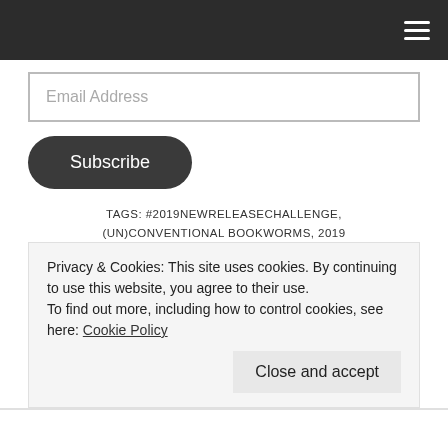≡
Email Address
Subscribe
TAGS: #2019NEWRELEASECHALLENGE, (UN)CONVENTIONAL BOOKWORMS, 2019 CHALLENGES, 2019 NEW RELEASE CHALLENGE, BOOKISH, BOOKISH CHALLENGES, BOOKLR, BOOKS, BOOKSTAGRAM, CHALLENGES, FUN, NEW RELEASE, NEW RELEASE 2019, NEW RELEASES, NEW RELEASES 2019, READING CHALLENGES, READING GOALS
Privacy & Cookies: This site uses cookies. By continuing to use this website, you agree to their use.
To find out more, including how to control cookies, see here: Cookie Policy
Close and accept